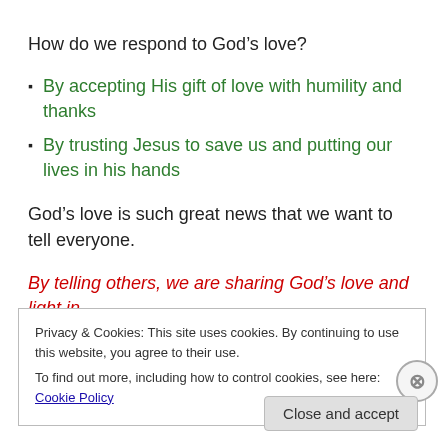How do we respond to God’s love?
By accepting His gift of love with humility and thanks
By trusting Jesus to save us and putting our lives in his hands
God’s love is such great news that we want to tell everyone.
By telling others, we are sharing God’s love and light in
Privacy & Cookies: This site uses cookies. By continuing to use this website, you agree to their use. To find out more, including how to control cookies, see here: Cookie Policy
Close and accept